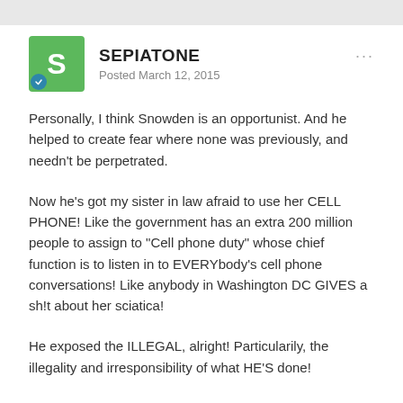SEPIATONE
Posted March 12, 2015
Personally, I think Snowden is an opportunist.  And he helped to create fear where none was previously, and needn't be perpetrated.
Now he's got my sister in law afraid to use her CELL PHONE!  Like the government has an extra 200 million people to assign to "Cell phone duty" whose chief function is to listen in to EVERYbody's cell phone conversations!  Like anybody in Washington DC GIVES a sh!t about her sciatica!
He exposed the ILLEGAL, alright!  Particularily, the illegality and irresponsibility of what HE'S done!
I kinda go along with what Dark is saying, even though I know my...